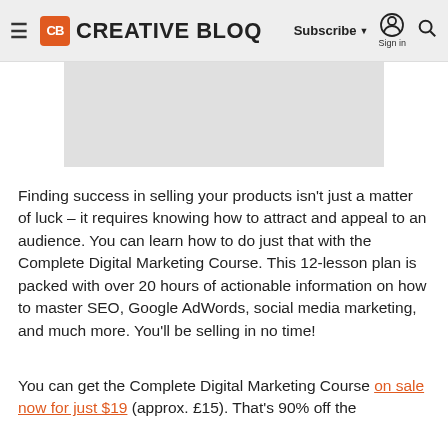Creative Bloq — Subscribe | Sign in | Search
[Figure (photo): Gray image placeholder / advertisement banner]
Finding success in selling your products isn't just a matter of luck – it requires knowing how to attract and appeal to an audience. You can learn how to do just that with the Complete Digital Marketing Course. This 12-lesson plan is packed with over 20 hours of actionable information on how to master SEO, Google AdWords, social media marketing, and much more. You'll be selling in no time!
You can get the Complete Digital Marketing Course on sale now for just $19 (approx. £15). That's 90% off the